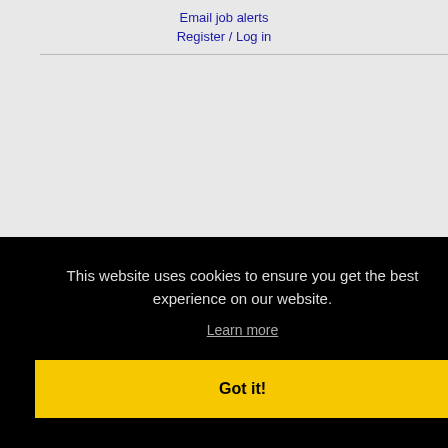Email job alerts
Register / Log in
This website uses cookies to ensure you get the best experience on our website.
Learn more
Got it!